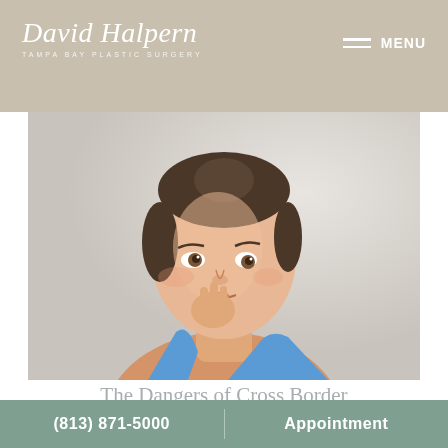David Halpern | TAMPA BAY PLASTIC SURGERY | MENU
[Figure (photo): Young woman with a worried or anxious expression, biting her fingers, wearing a blue top, photographed against a light neutral background]
The Dangers of Cross Border Discount Surgery: Laura Avila's
(813) 871-5000 | Appointment